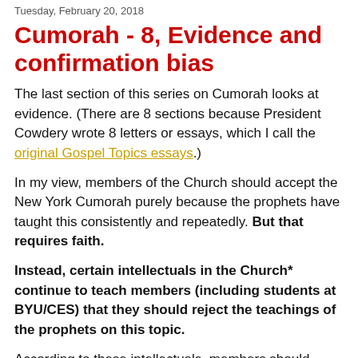Tuesday, February 20, 2018
Cumorah - 8, Evidence and confirmation bias
The last section of this series on Cumorah looks at evidence. (There are 8 sections because President Cowdery wrote 8 letters or essays, which I call the original Gospel Topics essays.)
In my view, members of the Church should accept the New York Cumorah purely because the prophets have taught this consistently and repeatedly. But that requires faith.
Instead, certain intellectuals in the Church* continue to teach members (including students at BYU/CES) that they should reject the teachings of the prophets on this topic.
According to these intellectuals, members should believe the intellectuals because they have "evidence." I completely reject the M2C dogma that accepts what the prophets teach only when the prophets agree with the intellectuals.